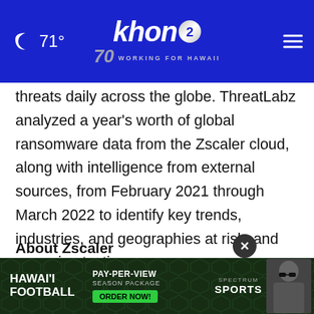🌙 71° | khon2 WORKING FOR HAWAII
threats daily across the globe. ThreatLabz analyzed a year's worth of global ransomware data from the Zscaler cloud, along with intelligence from external sources, from February 2021 through March 2022 to identify key trends, industries, and geographies at risk, and emerging tactics.
About Zscaler
Zscaler (NASDAQ: ZS) accelerates digital transformation so that customers can be more agile, efficient, resilient, and secure. The Zscaler Zero
[Figure (other): Advertisement banner for Hawai'i Football Pay-Per-View Season Package on Spectrum Sports with a person in sunglasses]